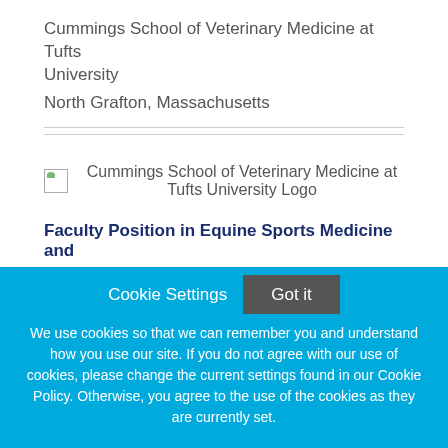Cummings School of Veterinary Medicine at Tufts University
North Grafton, Massachusetts
[Figure (logo): Cummings School of Veterinary Medicine at Tufts University Logo — broken image placeholder with logo text]
Faculty Position in Equine Sports Medicine and
Cookie Settings
Got it
We use cookies so that we can remember you and understand how you use our site. If you do not agree with our use of cookies, please change the current settings found in our Cookie Policy. Otherwise, you agree to the use of the cookies as they are currently set.